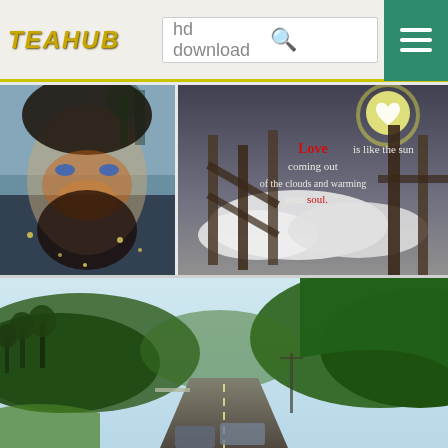TEAHUB — hd download [search bar] [menu button]
[Figure (photo): Double exposure artistic portrait of a bearded man with forest/nature overlay, warm orange and blue tones]
[Figure (photo): Black and white landscape with wooden fence posts; overlaid white text: 'Love is like the sun coming out of the clouds and warming your soul.' with 'Love' and 'soul' in red; glowing heart shape in sky]
[Figure (photo): Road winding through lush green forested hills with a pale blue sky, viewed from inside a vehicle]